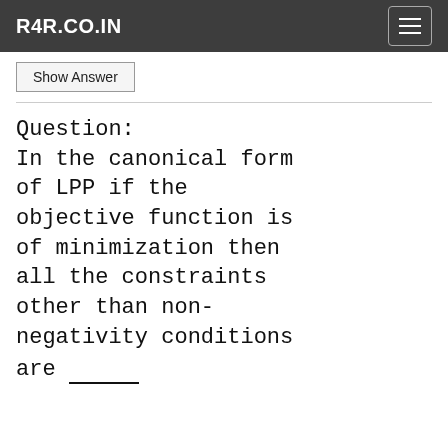R4R.CO.IN
Show Answer
Question:
In the canonical form of LPP if the objective function is of minimization then all the constraints other than non-negativity conditions are ______